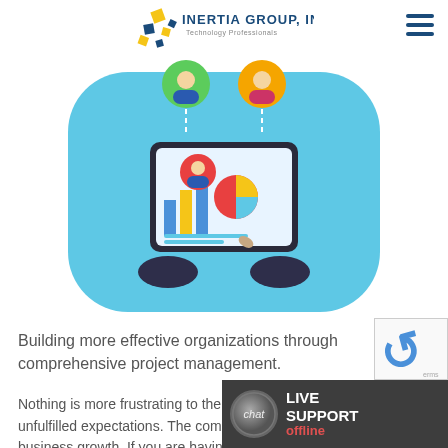[Figure (logo): Inertia Group, Inc. logo with colorful geometric shapes and text 'INERTIA GROUP, INC. Technology Professionals']
[Figure (illustration): Illustration of hands holding a tablet with user profile icons connected by dashed lines, representing project management and collaboration]
Building more effective organizations through comprehensive project management.
Nothing is more frustrating to the modern business owner than unfulfilled expectations. The completion of projects is a big part of business growth. If you are having problems with the completion of your business' proje... Group, Inc.'s IT professionals can pr... solution via our eManagement pla...